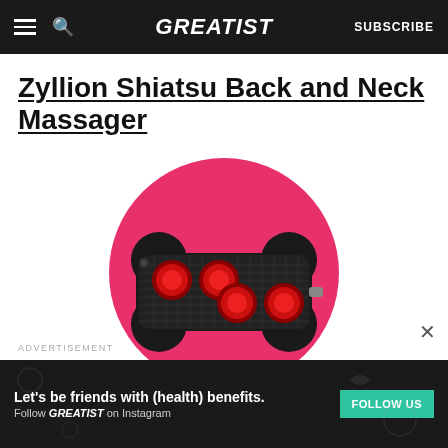GREATIST | SUBSCRIBE
Zyllion Shiatsu Back and Neck Massager
[Figure (photo): A Zyllion Shiatsu back and neck massager device with four red massage nodes visible through a mesh cover, shaped like a bone/pillow, displayed on a bright pink circle background.]
ADVERTISEMENT
Let's be friends with (health) benefits. Follow GREATIST on Instagram